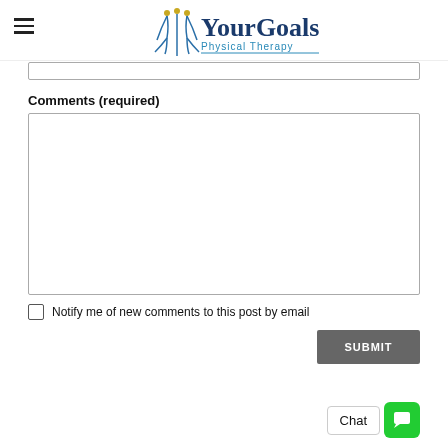[Figure (logo): Your Goals Physical Therapy logo with decorative plant/roots icon in blue and gold]
Comments (required)
Notify me of new comments to this post by email
SUBMIT
Chat